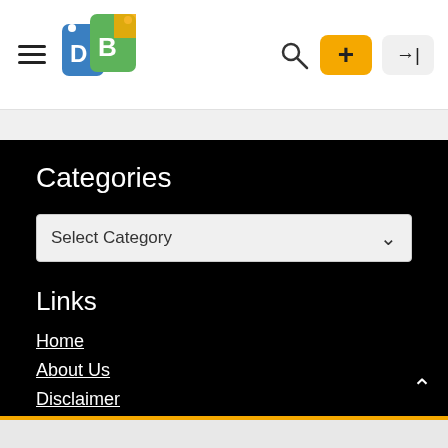DB [logo] — navigation header with hamburger menu, search icon, add button, login button
Categories
Select Category
Links
Home
About Us
Disclaimer
Privacy Policy
Terms and Conditions